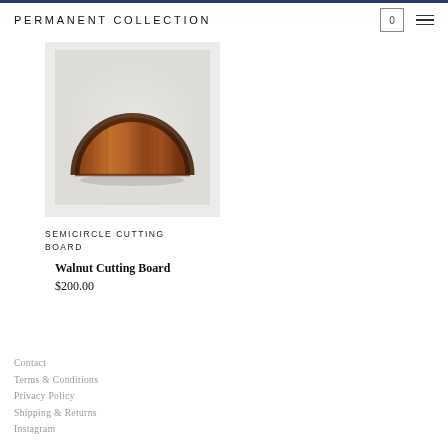PERMANENT COLLECTION
[Figure (photo): A semicircle-shaped walnut cutting board photographed against a light grey background. The board shows beautiful walnut wood grain with a darker edge along the curved top.]
SEMICIRCLE CUTTING BOARD
Walnut Cutting Board
$200.00
Contact
Terms & Conditions
Privacy Policy
Shipping & Returns
Instagram